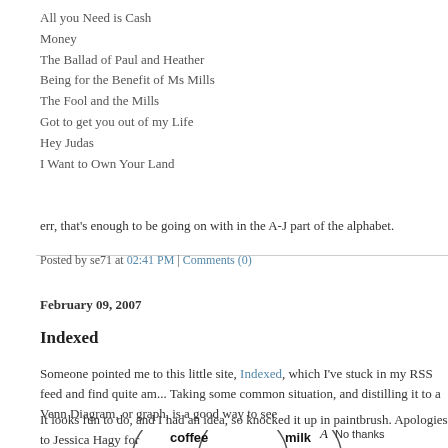All you Need is Cash
Money
The Ballad of Paul and Heather
Being for the Benefit of Ms Mills
The Fool and the Mills
Got to get you out of my Life
Hey Judas
I Want to Own Your Land
err, that's enough to be going on with in the A-J part of the alphabet.
Posted by se71 at 02:41 PM | Comments (0)
February 09, 2007
Indexed
Someone pointed me to this little site, Indexed, which I've stuck in my RSS feed and find quite am... Taking some common situation, and distilling it to a Venn Diagram, or graph, is a good way to see...
It looks fun to do, and I had an idea, so knocked it up in paintbrush. Apologies to Jessica Hagy for
[Figure (illustration): Venn diagram with two overlapping circles labeled 'coffee' and 'milk', with a hand-drawn style 'A' symbol and text 'No thanks' above the right circle]